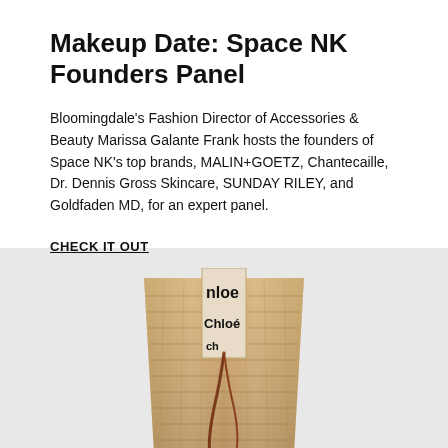Makeup Date: Space NK Founders Panel
Bloomingdale's Fashion Director of Accessories & Beauty Marissa Galante Frank hosts the founders of Space NK's top brands, MALIN+GOETZ, Chantecaille, Dr. Dennis Gross Skincare, SUNDAY RILEY, and Goldfaden MD, for an expert panel.
CHECK IT OUT
[Figure (photo): A woven straw bucket bag with a canvas label strap reading 'Chloe' in bold black text, with a brown leather cord.]